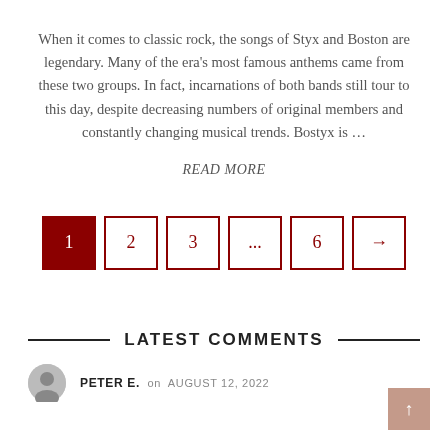When it comes to classic rock, the songs of Styx and Boston are legendary. Many of the era's most famous anthems came from these two groups. In fact, incarnations of both bands still tour to this day, despite decreasing numbers of original members and constantly changing musical trends. Bostyx is …
READ MORE
[Figure (other): Pagination navigation with page buttons: 1 (active/filled dark red), 2, 3, ..., 6, →]
LATEST COMMENTS
PETER E.  on  AUGUST 12, 2022